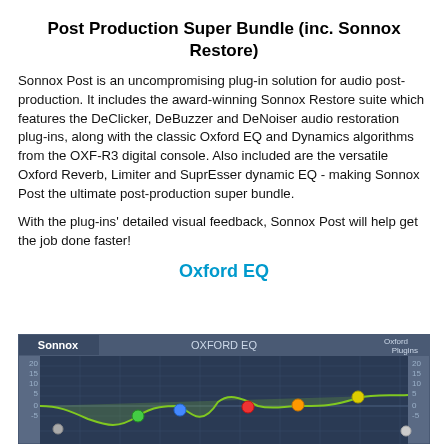Post Production Super Bundle (inc. Sonnox Restore)
Sonnox Post is an uncompromising plug-in solution for audio post-production. It includes the award-winning Sonnox Restore suite which features the DeClicker, DeBuzzer and DeNoiser audio restoration plug-ins, along with the classic Oxford EQ and Dynamics algorithms from the OXF-R3 digital console. Also included are the versatile Oxford Reverb, Limiter and SuprEsser dynamic EQ - making Sonnox Post the ultimate post-production super bundle.
With the plug-ins' detailed visual feedback, Sonnox Post will help get the job done faster!
Oxford EQ
[Figure (screenshot): Screenshot of the Oxford EQ plugin interface showing an equalizer curve with colored control points on a dark grid background. Header shows 'Sonnox' on left, 'OXFORD EQ' in center, and 'Oxford Plugins' on right. Y-axis shows values from -5 to 20 dB on both sides.]